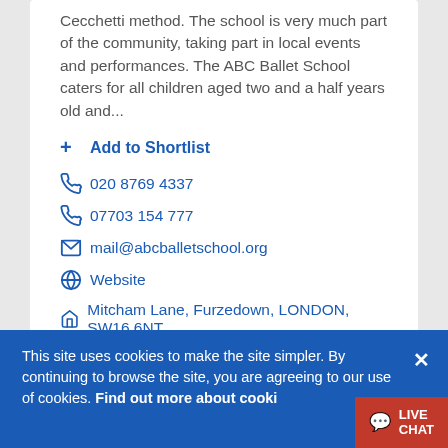Cecchetti method.  The school is very much part of the community, taking part in local events and performances. The ABC Ballet School caters for all children aged two and a half years old and...
+ Add to Shortlist
📞 020 8769 4337
📞 07703 154 777
✉ mail@abcballetschool.org
🌐 Website
🏠 Mitcham Lane, Furzedown, LONDON, SW16 6NT
This site uses cookies to make the site simpler. By continuing to browse the site, you are agreeing to our use of cookies. Find out more about cookies